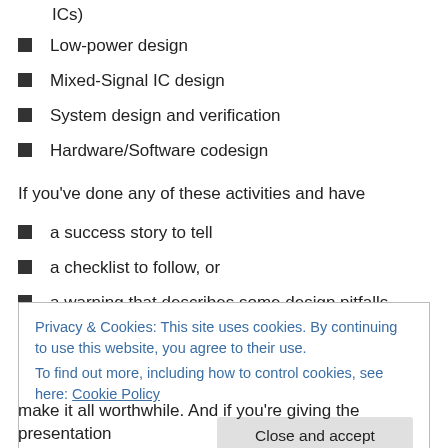ICs)
Low-power design
Mixed-Signal IC design
System design and verification
Hardware/Software codesign
If you've done any of these activities and have
a success story to tell
a checklist to follow, or
a warning that describes some design pitfalls
Privacy & Cookies: This site uses cookies. By continuing to use this website, you agree to their use.
To find out more, including how to control cookies, see here: Cookie Policy
make it all worthwhile. And if you're giving the presentation